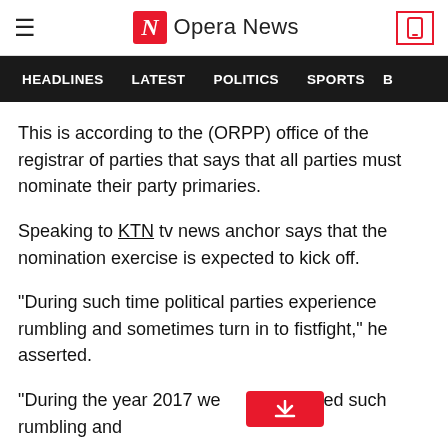≡  N Opera News  [phone icon]
HEADLINES   LATEST   POLITICS   SPORTS   B
This is according to the (ORPP) office of the registrar of parties that says that all parties must nominate their party primaries.
Speaking to KTN tv news anchor says that the nomination exercise is expected to kick off.
"During such time political parties experience rumbling and sometimes turn in to fistfight," he asserted.
"During the year 2017 we experienced such rumbling and